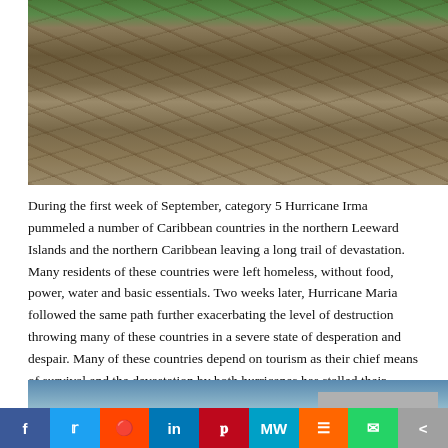[Figure (photo): Photo of hurricane damage showing collapsed wooden structures, debris, and destroyed buildings scattered across a waterfront area with trees in background]
During the first week of September, category 5 Hurricane Irma pummeled a number of Caribbean countries in the northern Leeward Islands and the northern Caribbean leaving a long trail of devastation. Many residents of these countries were left homeless, without food, power, water and basic essentials. Two weeks later, Hurricane Maria followed the same path further exacerbating the level of destruction throwing many of these countries in a severe state of desperation and despair. Many of these countries depend on tourism as their chief means of survival and the devastation by both hurricanes has stalled their economies, which may take several months or perhaps years to recover.
[Figure (photo): Photo of building and sky after hurricane damage]
[Figure (infographic): Social media sharing bar with Facebook, Twitter, Reddit, LinkedIn, Pinterest, MeWe, Mix, WhatsApp, and share buttons]